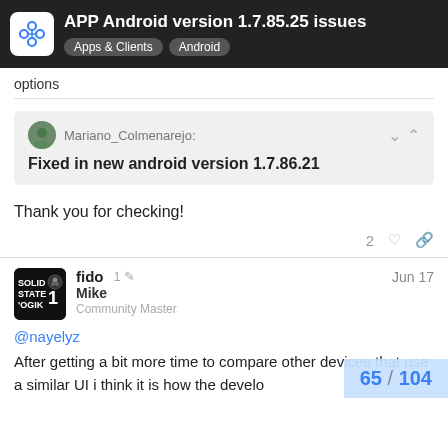APP Android version 1.7.85.25 issues | Apps & Clients | Android
options
Mariano_Colmenarejo:
Fixed in new android version 1.7.86.21
Thank you for checking!
fido
Mike
Community Master
1  Jun 17
@nayelyz
After getting a bit more time to compare other devices that use a similar UI i think it is how the develo